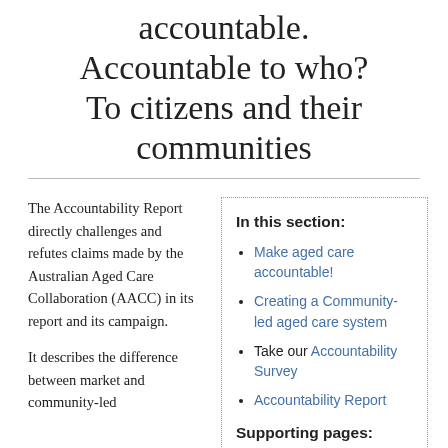accountable. Accountable to who? To citizens and their communities
The Accountability Report directly challenges and refutes claims made by the Australian Aged Care Collaboration (AACC) in its report and its campaign.
It describes the difference between market and community-led
In this section:
Make aged care accountable!
Creating a Community-led aged care system
Take our Accountability Survey
Accountability Report
Supporting pages:
Society and policy failure
Aged Care Crisis and the